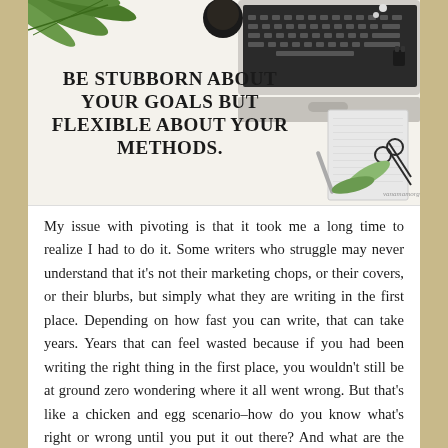[Figure (illustration): Motivational quote image with office flatlay background (laptop, notebook, scissors, palm leaf). Quote reads: BE STUBBORN ABOUT YOUR GOALS BUT FLEXIBLE ABOUT YOUR METHODS. vanamamorgene.com]
My issue with pivoting is that it took me a long time to realize I had to do it. Some writers who struggle may never understand that it's not their marketing chops, or their covers, or their blurbs, but simply what they are writing in the first place. Depending on how fast you can write, that can take years. Years that can feel wasted because if you had been writing the right thing in the first place, you wouldn't still be at ground zero wondering where it all went wrong. But that's like a chicken and egg scenario–how do you know what's right or wrong until you put it out there? And what are the metrics you've decided to pin that on? Sales? Reviews? I'm nowhere near making a full-time